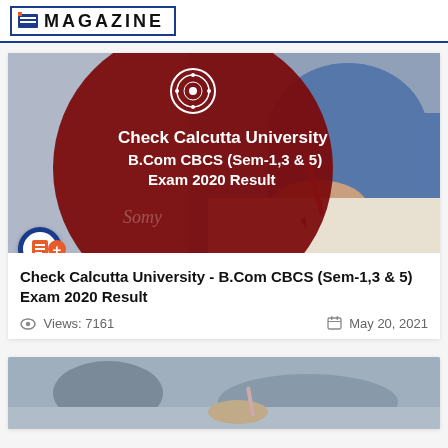MAGAZINE
[Figure (photo): Thumbnail image for article: Check Calcutta University B.Com CBCS (Sem-1,3 & 5) Exam 2020 Result. Shows a dark red circle overlay with white university emblem and bold white text on left, and a student writing with a pink pencil on the right. Orange M+ badge icon at bottom left.]
Check Calcutta University - B.Com CBCS (Sem-1,3 & 5) Exam 2020 Result
Views: 7161
May 20, 2021
[Figure (photo): Bottom partial thumbnail image showing students writing in an exam setting, gray/muted tones.]